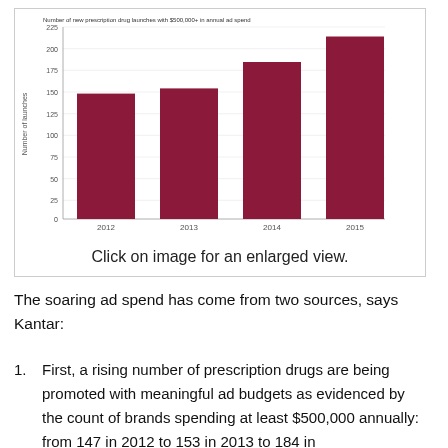[Figure (bar-chart): Number of new prescription drug launches with $500,000+ in annual ad spend]
Click on image for an enlarged view.
The soaring ad spend has come from two sources, says Kantar:
First, a rising number of prescription drugs are being promoted with meaningful ad budgets as evidenced by the count of brands spending at least $500,000 annually: from 147 in 2012 to 153 in 2013 to 184 in